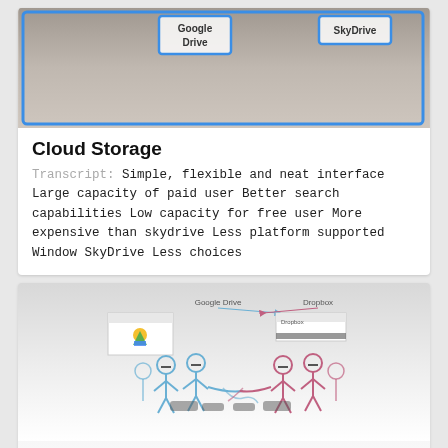[Figure (screenshot): Screenshot of a presentation slide showing Google Drive and SkyDrive logos/labels with blue highlight boxes on a grey gradient background]
Cloud Storage
Transcript: Simple, flexible and neat interface Large capacity of paid user Better search capabilities Low capacity for free user More expensive than skydrive Less platform supported Window SkyDrive Less choices
[Figure (illustration): Illustration comparing Google Drive VS. Dropbox with stick figures in blue (Google Drive side) and pink/red (Dropbox side) facing each other, with small screenshots of each service shown above. Text reads 'Google Drive' and 'Dropbox' with arrows. Caption 'Google Drive VS. Dropbox' and subtitle 'Qiancen Liu']